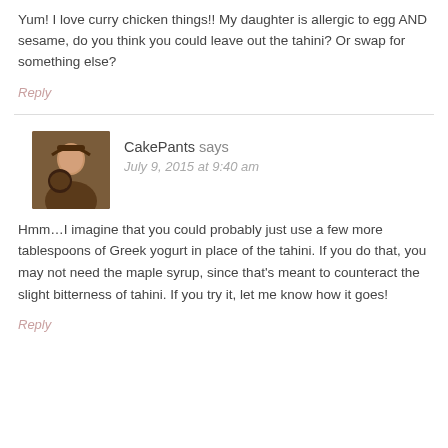Yum! I love curry chicken things!! My daughter is allergic to egg AND sesame, do you think you could leave out the tahini? Or swap for something else?
Reply
CakePants says
July 9, 2015 at 9:40 am
Hmm…I imagine that you could probably just use a few more tablespoons of Greek yogurt in place of the tahini. If you do that, you may not need the maple syrup, since that's meant to counteract the slight bitterness of tahini. If you try it, let me know how it goes!
Reply